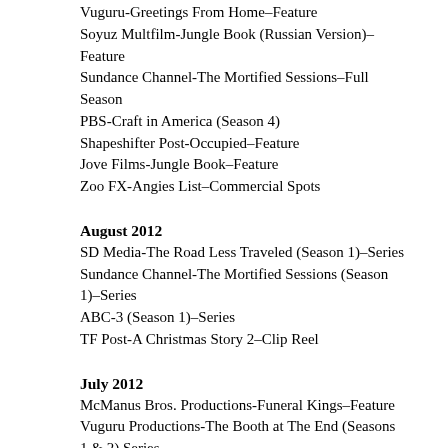Vuguru-Greetings From Home–Feature
Soyuz Multfilm-Jungle Book (Russian Version)–Feature
Sundance Channel-The Mortified Sessions–Full Season
PBS-Craft in America (Season 4)
Shapeshifter Post-Occupied–Feature
Jove Films-Jungle Book–Feature
Zoo FX-Angies List–Commercial Spots
August 2012
SD Media-The Road Less Traveled (Season 1)–Series
Sundance Channel-The Mortified Sessions (Season 1)–Series
ABC-3 (Season 1)–Series
TF Post-A Christmas Story 2–Clip Reel
July 2012
McManus Bros. Productions-Funeral Kings–Feature
Vuguru Productions-The Booth at The End (Seasons 1 & 2) Series
TF Post-What to Expect When You Are Expecting